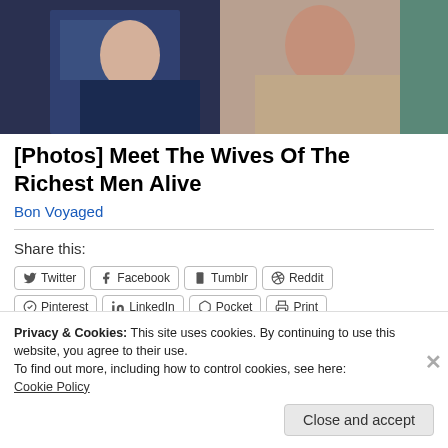[Figure (photo): Photo of a man in a dark suit and a woman in a patterned top, seated, partially cropped]
[Photos] Meet The Wives Of The Richest Men Alive
Bon Voyaged
Share this:
Twitter | Facebook | Tumblr | Reddit | Pinterest | LinkedIn | Pocket | Print | Email
Privacy & Cookies: This site uses cookies. By continuing to use this website, you agree to their use.
To find out more, including how to control cookies, see here:
Cookie Policy
Close and accept